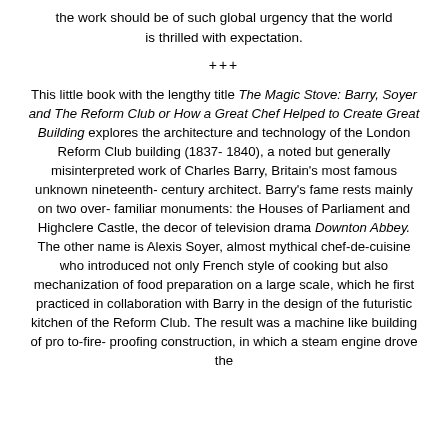the work should be of such global urgency that the world is thrilled with expectation.
+++
This little book with the lengthy title The Magic Stove: Barry, Soyer and The Reform Club or How a Great Chef Helped to Create Great Building explores the architecture and technology of the London Reform Club building (1837-1840), a noted but generally misinterpreted work of Charles Barry, Britain's most famous unknown nineteenth-century architect. Barry's fame rests mainly on two over-familiar monuments: the Houses of Parliament and Highclere Castle, the decor of television drama Downton Abbey. The other name is Alexis Soyer, almost mythical chef-de-cuisine who introduced not only French style of cooking but also mechanization of food preparation on a large scale, which he first practiced in collaboration with Barry in the design of the futuristic kitchen of the Reform Club. The result was a machine like building of pro to-fire-proofing construction, in which a steam engine drove the